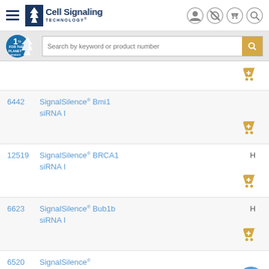Cell Signaling Technology
Search by keyword or product number
6442 - SignalSilence® Bmi1 siRNA I
12519 - SignalSilence® BRCA1 siRNA I - H
6623 - SignalSilence® Bub1b siRNA I - H
6520 - SignalSilence® Caspase-3 siRNA II
6466 - SignalSilence® - H